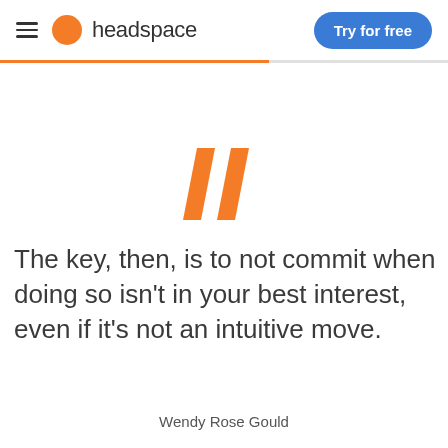headspace | Try for free
[Figure (logo): Large orange quotation mark graphic]
The key, then, is to not commit when doing so isn’t in your best interest, even if it’s not an intuitive move.
Wendy Rose Gould